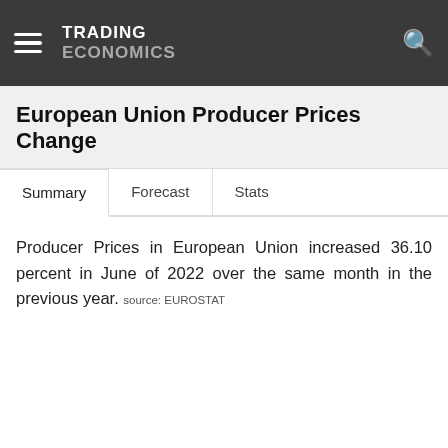TRADING ECONOMICS
European Union Producer Prices Change
Summary  Forecast  Stats
Producer Prices in European Union increased 36.10 percent in June of 2022 over the same month in the previous year. source: EUROSTAT